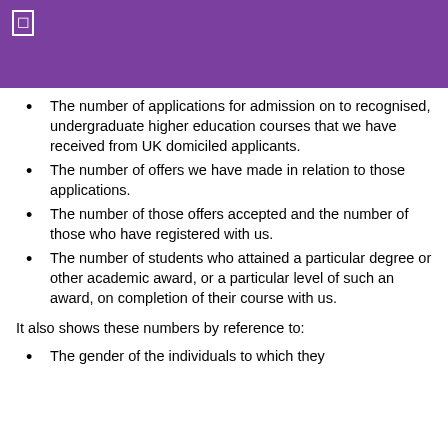The number of applications for admission on to recognised, undergraduate higher education courses that we have received from UK domiciled applicants.
The number of offers we have made in relation to those applications.
The number of those offers accepted and the number of those who have registered with us.
The number of students who attained a particular degree or other academic award, or a particular level of such an award, on completion of their course with us.
It also shows these numbers by reference to:
The gender of the individuals to which they